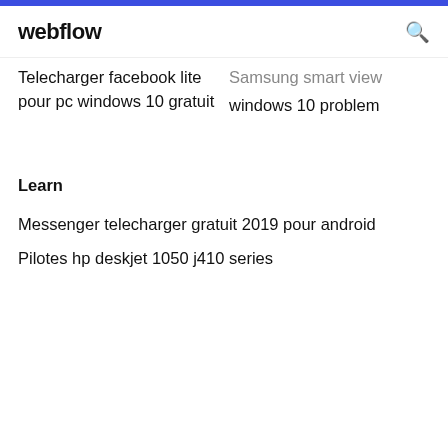webflow
Samsung smart view windows 10 problem
Telecharger facebook lite pour pc windows 10 gratuit
Learn
Messenger telecharger gratuit 2019 pour android
Pilotes hp deskjet 1050 j410 series